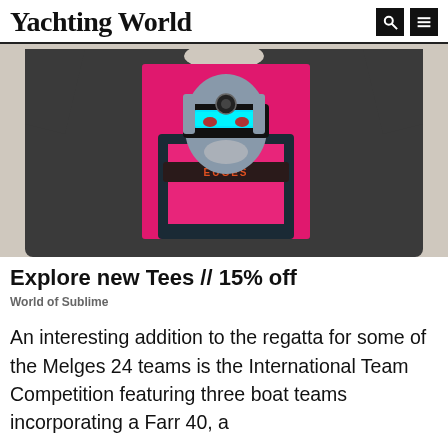Yachting World
[Figure (photo): A dark grey t-shirt with a cyberpunk-style graphic print showing a figure wearing futuristic VR goggles against a hot pink background, displayed on a light beige background.]
Explore new Tees // 15% off
World of Sublime
An interesting addition to the regatta for some of the Melges 24 teams is the International Team Competition featuring three boat teams incorporating a Farr 40, a